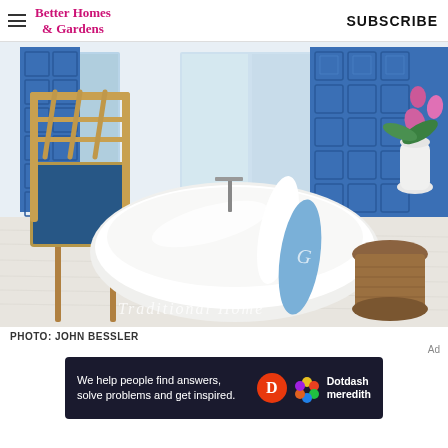Better Homes & Gardens | SUBSCRIBE
[Figure (photo): Elegant bathroom with a white freestanding soaking tub, light-blue monogrammed towel draped over the side, blue geometric patterned tile wall in the background, a bamboo-style chair with blue upholstery on the left, a round wicker side table on the right, and large windows with green garden view. Watermark reads 'TRADITIONAL HOME'.]
PHOTO: JOHN BESSLER
[Figure (other): Advertisement banner: 'We help people find answers, solve problems and get inspired.' with Dotdash Meredith logo (red D circle and colorful flower icon).]